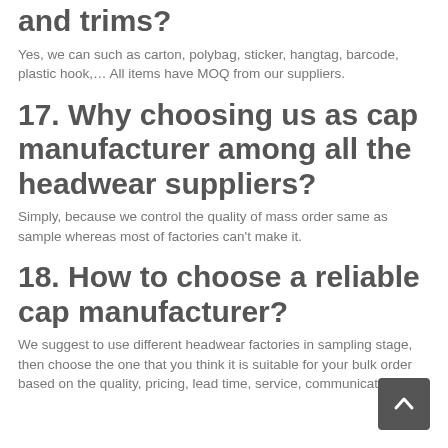and trims?
Yes, we can such as carton, polybag, sticker, hangtag, barcode, plastic hook,… All items have MOQ from our suppliers.
17. Why choosing us as cap manufacturer among all the headwear suppliers?
Simply, because we control the quality of mass order same as sample whereas most of factories can't make it.
18. How to choose a reliable cap manufacturer?
We suggest to use different headwear factories in sampling stage, then choose the one that you think it is suitable for your bulk order based on the quality, pricing, lead time, service, communication,…